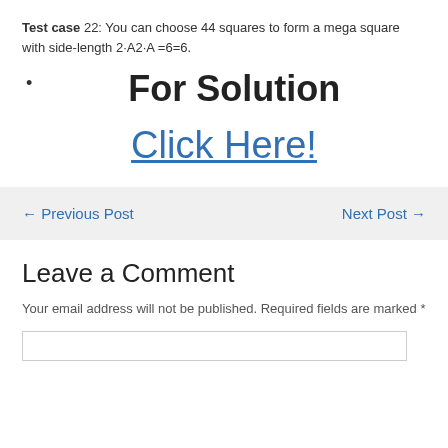Test case 22: You can choose 44 squares to form a mega square with side-length 2·A2·A =6=6.
For Solution
Click Here!
← Previous Post    Next Post →
Leave a Comment
Your email address will not be published. Required fields are marked *